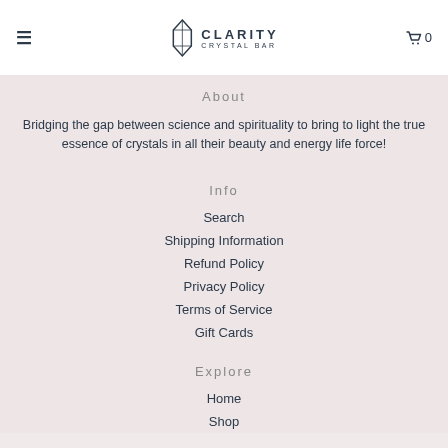≡  CLARITY CRYSTAL BAR  🛒 0
About
Bridging the gap between science and spirituality to bring to light the true essence of crystals in all their beauty and energy life force!
Info
Search
Shipping Information
Refund Policy
Privacy Policy
Terms of Service
Gift Cards
Explore
Home
Shop